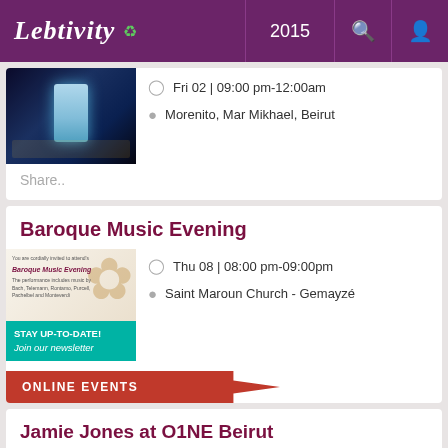Lebtivity 2015
Fri 02 | 09:00 pm-12:00am
Morenito, Mar Mikhael, Beirut
Share..
Baroque Music Evening
Thu 08 | 08:00 pm-09:00pm
Saint Maroun Church - Gemayzé
STAY UP-TO-DATE! Join our newsletter
ONLINE EVENTS
Jamie Jones at O1NE Beirut
Sat 24 | 11:00 pm-05:00am
O1NE Beirut, Biel, Beirut, Lebanon